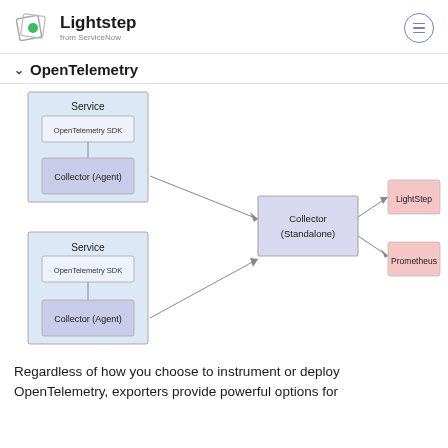Lightstep from ServiceNow
OpenTelemetry
[Figure (flowchart): Architecture diagram showing two Service boxes (each containing OpenTelemetry SDK and Collector Agent), both connecting via arrows to a central Collector (Standalone) box, which then connects to LightStep and Prometheus destination boxes.]
Regardless of how you choose to instrument or deploy OpenTelemetry, exporters provide powerful options for